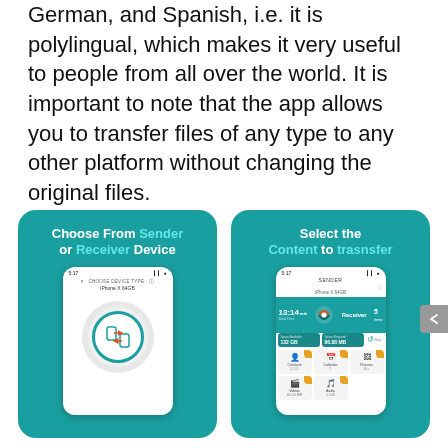German, and Spanish, i.e. it is polylingual, which makes it very useful to people from all over the world. It is important to note that the app allows you to transfer files of any type to any other platform without changing the original files.
[Figure (screenshot): Two smartphone app screenshots side by side on teal backgrounds. Left: 'Choose From Sender or Receiver Device' showing a phone with transfer icon. Right: 'Select the Content to trasnsfer' showing a phone with sender screen displaying transfer stats and content categories (Contacts, Calendar, Pictures, Videos, Audio).]